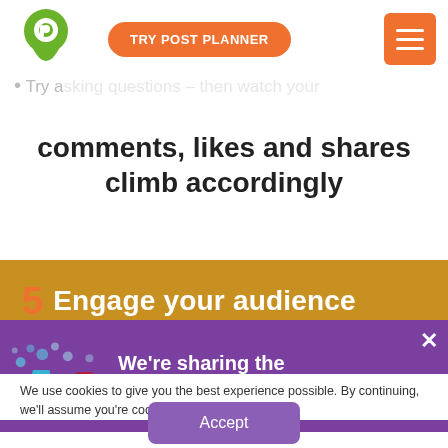[Figure (logo): Post Planner green pin logo with P icon]
TRY POST PLANNER
Try asking questions – then watch your comments, likes and shares climb accordingly
5  Engage your audience
[Figure (illustration): Science beakers with social media icons (Facebook, Twitter, Instagram, Pinterest) with bubbles floating above]
We're sharing the science of social media.
We use cookies to give you the best experience possible. By continuing, we'll assume you're cool with our cookie policy.
Accept